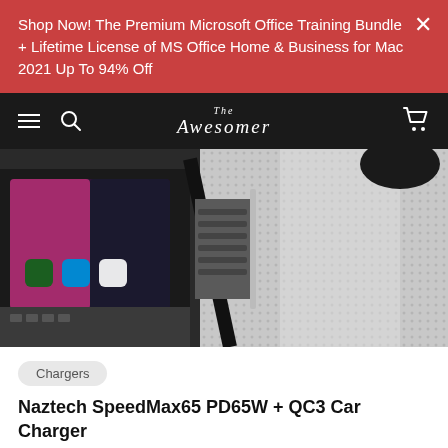Shop Now! The Premium Microsoft Office Training Bundle + Lifetime License of MS Office Home & Business for Mac 2021 Up To 94% Off
[Figure (screenshot): Website navigation bar with hamburger menu, search icon, The Awesomer logo, and cart icon on a dark background]
[Figure (photo): Close-up photo of a car charger plugged into a car dashboard USB port with a laptop visible]
Chargers
Naztech SpeedMax65 PD65W + QC3 Car Charger
Power Your Gadgets as You Go with This Charger's 18W Qualcomm Quick Charge 3.0 & 65W USB-C Power Delivery Outputs, 4X Faster...
$39.99